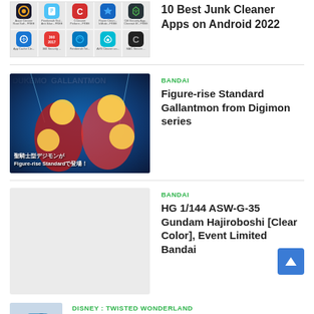[Figure (screenshot): Grid of Android app icons for junk cleaner apps]
10 Best Junk Cleaner Apps on Android 2022
BANDAI
[Figure (photo): Promotional image for Figure-rise Standard Gallantmon from Digimon series showing DUKEMON/GALLANTMON text and Japanese text]
Figure-rise Standard Gallantmon from Digimon series
BANDAI
[Figure (photo): Placeholder/blank image for HG 1/144 ASW-G-35 Gundam Hajiroboshi Clear Color article]
HG 1/144 ASW-G-35 Gundam Hajiroboshi [Clear Color], Event Limited Bandai
DISNEY : TWISTED WONDERLAND